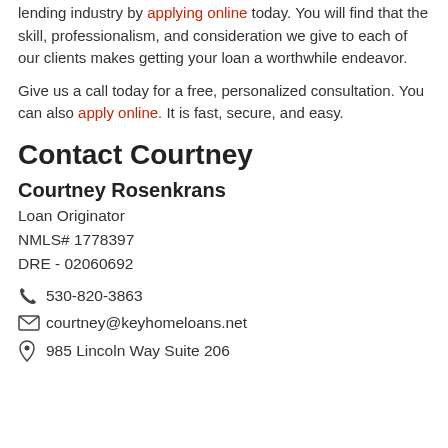lending industry by applying online today. You will find that the skill, professionalism, and consideration we give to each of our clients makes getting your loan a worthwhile endeavor.
Give us a call today for a free, personalized consultation. You can also apply online. It is fast, secure, and easy.
Contact Courtney
Courtney Rosenkrans
Loan Originator
NMLS# 1778397
DRE - 02060692
530-820-3863
courtney@keyhomeloans.net
985 Lincoln Way Suite 206